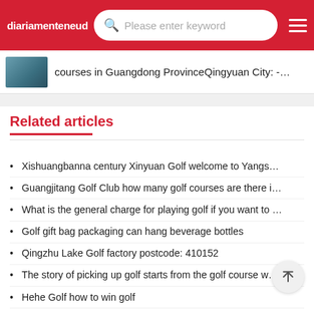diariamenteneud... | Please enter keyword
courses in Guangdong ProvinceQingyuan City: -…
Related articles
Xishuangbanna century Xinyuan Golf welcome to Yangs…
Guangjitang Golf Club how many golf courses are there i…
What is the general charge for playing golf if you want to …
Golf gift bag packaging can hang beverage bottles
Qingzhu Lake Golf factory postcode: 410152
The story of picking up golf starts from the golf course w…
Hehe Golf how to win golf
The largest golf production base in Zhongshan
Zhaoqing Golf Association where are you from
Ranking of golf equipment these two are more famous